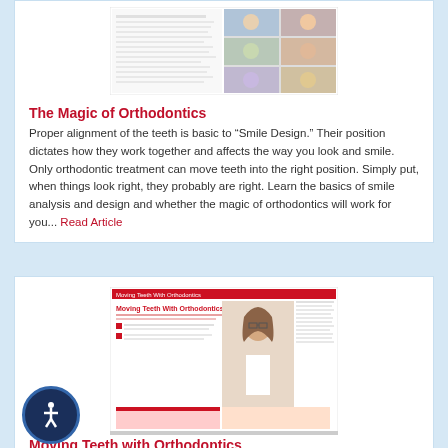[Figure (photo): Thumbnail of The Magic of Orthodontics article showing a collage of smiling faces and article text]
The Magic of Orthodontics
Proper alignment of the teeth is basic to “Smile Design.” Their position dictates how they work together and affects the way you look and smile. Only orthodontic treatment can move teeth into the right position. Simply put, when things look right, they probably are right. Learn the basics of smile analysis and design and whether the magic of orthodontics will work for you... Read Article
[Figure (photo): Thumbnail of Moving Teeth With Orthodontics article showing a young girl with braces and article text]
Moving Teeth with Orthodontics